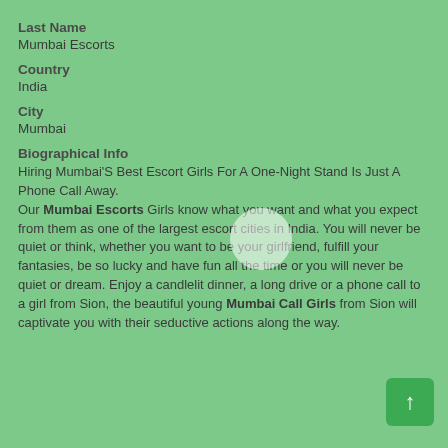Last Name
Mumbai Escorts
Country
India
City
Mumbai
Biographical Info
Hiring Mumbai'S Best Escort Girls For A One-Night Stand Is Just A Phone Call Away.
Our Mumbai Escorts Girls know what you want and what you expect from them as one of the largest escort cities in India. You will never be quiet or think, whether you want to be your girlfriend, fulfill your fantasies, be so lucky and have fun all the time or you will never be quiet or dream. Enjoy a candlelit dinner, a long drive or a phone call to a girl from Sion, the beautiful young Mumbai Call Girls from Sion will captivate you with their seductive actions along the way.